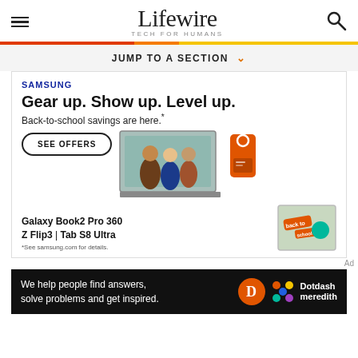Lifewire TECH FOR HUMANS
JUMP TO A SECTION
[Figure (illustration): Samsung advertisement: 'Gear up. Show up. Level up. Back-to-school savings are here.' with SEE OFFERS button, laptop with animated characters, orange Samsung device, tablets, and Galaxy Book2 Pro 360 / Z Flip3 / Tab S8 Ultra product list.]
[Figure (illustration): Dotdash Meredith banner: 'We help people find answers, solve problems and get inspired.' with orange D circle logo and colorful Dotdash Meredith logo.]